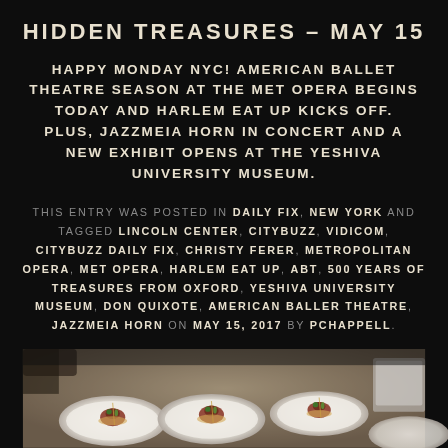HIDDEN TREASURES – MAY 15
HAPPY MONDAY NYC! AMERICAN BALLET THEATRE SEASON AT THE MET OPERA BEGINS TODAY AND HARLEM EAT UP KICKS OFF. PLUS, JAZZMEIA HORN IN CONCERT AND A NEW EXHIBIT OPENS AT THE YESHIVA UNIVERSITY MUSEUM.
THIS ENTRY WAS POSTED IN DAILY FIX, NEW YORK AND TAGGED LINCOLN CENTER, CITYBUZZ, VIDICOM, CITYBUZZ DAILY FIX, CHRISTY FERER, METROPOLITAN OPERA, MET OPERA, HARLEM EAT UP, ABT, 500 YEARS OF TREASURES FROM OXFORD, YESHIVA UNIVERSITY MUSEUM, DON QUIXOTE, AMERICAN BALLER THEATRE, JAZZMEIA HORN ON MAY 15, 2017 BY PCHAPPELL.
[Figure (photo): Food photo showing elegantly plated dishes on white plates with garnishes, viewed from above at an angle, in a restaurant setting.]